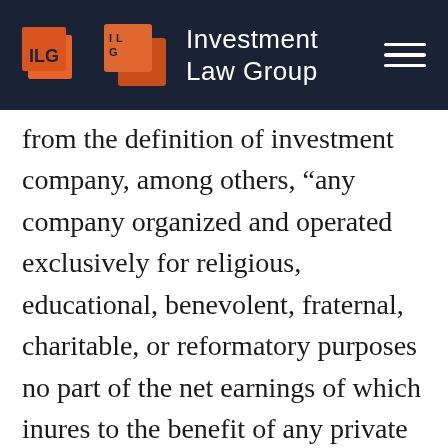Investment Law Group
from the definition of investment company, among others, “any company organized and operated exclusively for religious, educational, benevolent, fraternal, charitable, or reformatory purposes no part of the net earnings of which inures to the benefit of any private shareholder or individual.” On numerous occasions we have agreed not to recommend enforcement action to the Commission under Section 7 of the 1940 Act if charitable entities pool their